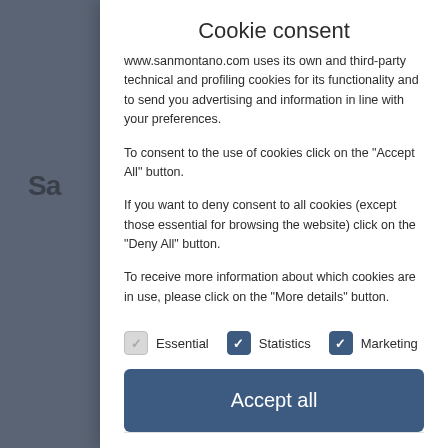Cookie consent
www.sanmontano.com uses its own and third-party technical and profiling cookies for its functionality and to send you advertising and information in line with your preferences.
To consent to the use of cookies click on the "Accept All" button.
If you want to deny consent to all cookies (except those essential for browsing the website) click on the "Deny All" button.
To receive more information about which cookies are in use, please click on the "More details" button.
Essential  Statistics  Marketing
Accept all
Save